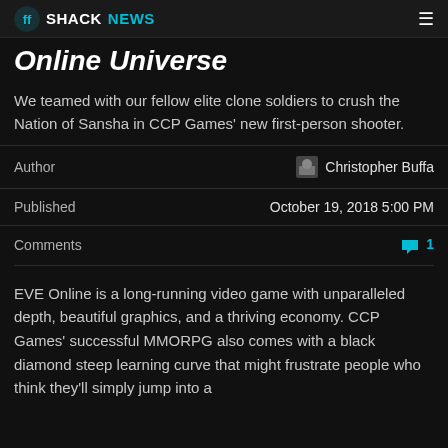Shacknews
Online Universe
We teamed with our fellow elite clone soldiers to crush the Nation of Sansha in CCP Games' new first-person shooter.
|  |  |
| --- | --- |
| Author | Christopher Buffa |
| Published | October 19, 2018 5:00 PM |
| Comments | 1 |
EVE Online is a long-running video game with unparalleled depth, beautiful graphics, and a thriving economy. CCP Games' successful MMORPG also comes with a black diamond steep learning curve that might frustrate people who think they'll simply jump into a